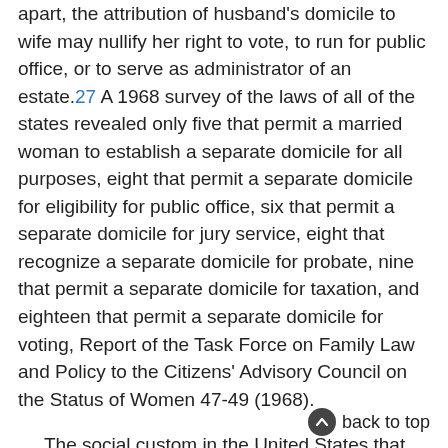apart, the attribution of husband's domicile to wife may nullify her right to vote, to run for public office, or to serve as administrator of an estate.27 A 1968 survey of the laws of all of the states revealed only five that permit a married woman to establish a separate domicile for all purposes, eight that permit a separate domicile for eligibility for public office, six that permit a separate domicile for jury service, eight that recognize a separate domicile for probate, nine that permit a separate domicile for taxation, and eighteen that permit a separate domicile for voting, Report of the Task Force on Family Law and Policy to the Citizens' Advisory Council on the Status of Women 47-49 (1968).
The social custom in the United States that upon marriage a woman takes her husband's surname, and ceases
back to top